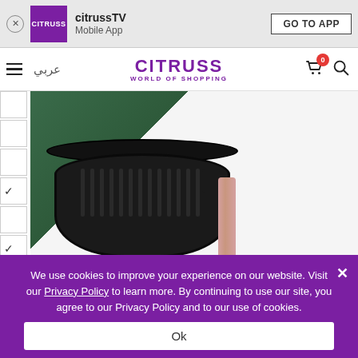[Figure (screenshot): App download banner for citrussTV Mobile App with a purple CITRUSS icon, app name 'citrussTV', subtitle 'Mobile App', and a 'GO TO APP' button]
[Figure (screenshot): CITRUSS website header with hamburger menu, Arabic text 'عربي', CITRUSS WORLD OF SHOPPING logo in purple, shopping cart icon with badge '0', and search icon]
[Figure (photo): Product photo of a black air fryer basket with a rose-gold/pink handle on a white surface, against a green background]
We use cookies to improve your experience on our website. Visit our Privacy Policy to learn more. By continuing to use our site, you agree to our Privacy Policy and to our use of cookies.
Ok